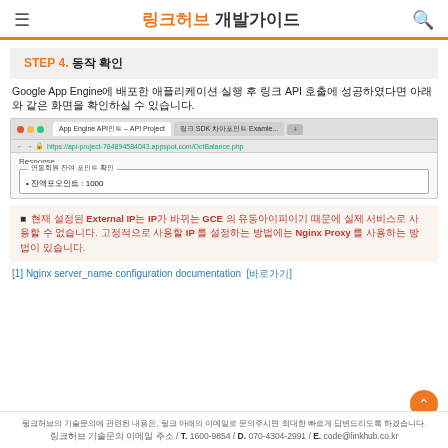링크허브 개발가이드
STEP 4. 동작 확인
Google App Engine에 배포한 애플리케이션 실행 후 API 호출에 성공하였다면 아래와 같은 화면을 확인하실 수 있습니다.
[Figure (screenshot): Browser screenshot showing API response page with result: 잔액포오인트: 1000]
현재 설정된 External IP는 IP가 바뀌는 GCE 의 유동아이피이기 때문에 실제 서비스로 사용할 수 없습니다. 고정적으로 사용할 IP 를 설정하는 방법에는 Nginx Proxy 를 사용하는 방법이 있습니다.
[1] Nginx server_name configuration documentation  [바로가기]
링크허브의 기술문의에 관련된 내용은, 링크 아래의 이메일로 문의주시면 최대한 빠르게 답변드리도록 하겠습니다. 링크허브 기술문의 이메일 주소 / T. 1600-9854 / D. 070-4304-2991 / E. code@linkhub.co.kr